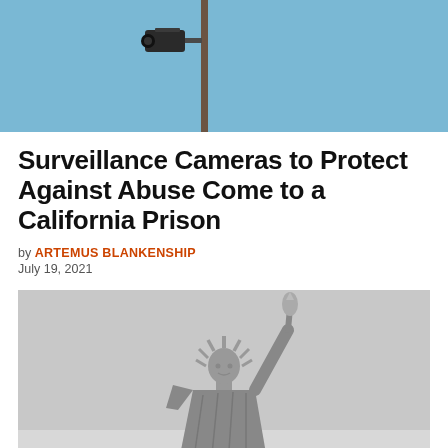[Figure (photo): Top portion of a surveillance camera mounted on a pole against a blue sky background]
Surveillance Cameras to Protect Against Abuse Come to a California Prison
by ARTEMUS BLANKENSHIP
July 19, 2021
[Figure (photo): Black and white photograph of the Statue of Liberty against a light grey sky]